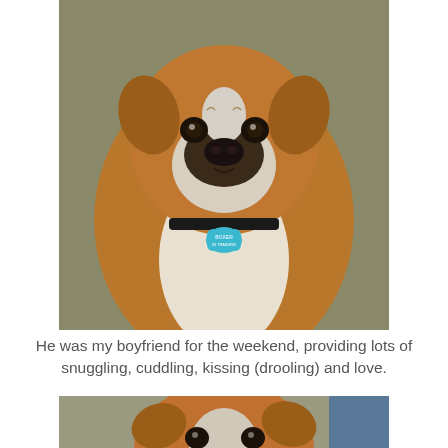[Figure (photo): Close-up portrait of a Boxer dog with brown and white coloring, looking directly at camera with a serious expression. The dog wears a collar and a blue bone-shaped dog tag. Background is olive/gray blurred.]
He was my boyfriend for the weekend, providing lots of snuggling, cuddling, kissing (drooling) and love.
[Figure (photo): Partial view of the same Boxer dog from a slightly different angle, showing the top of its head and face tilted slightly, with similar brown and white markings.]